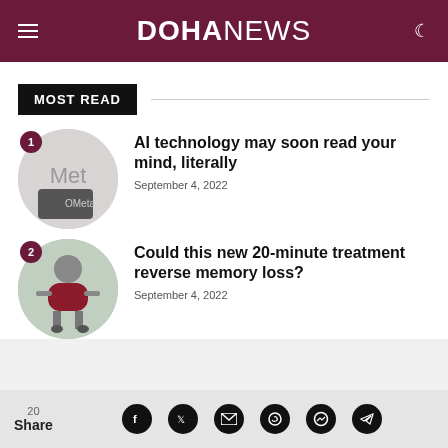DOHA NEWS
MOST READ
AI technology may soon read your mind, literally — September 4, 2022
Could this new 20-minute treatment reverse memory loss? — September 4, 2022
20 Share